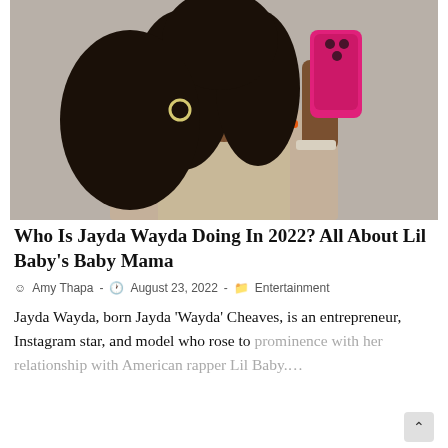[Figure (photo): Young Black woman with long curly hair taking a mirror selfie, holding a pink phone case, wearing an orange-trimmed beige top and chain necklace and bracelet]
Who Is Jayda Wayda Doing In 2022? All About Lil Baby's Baby Mama
Amy Thapa - August 23, 2022 - Entertainment
Jayda Wayda, born Jayda 'Wayda' Cheaves, is an entrepreneur, Instagram star, and model who rose to prominence with her relationship with American rapper Lil Baby....